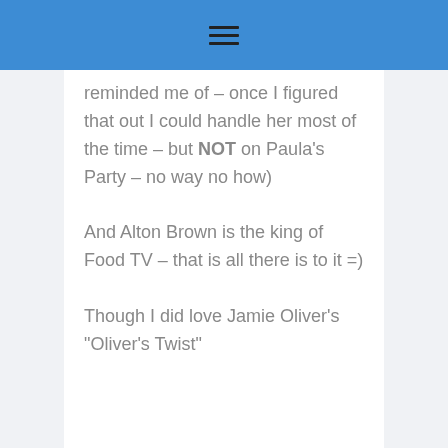≡
reminded me of – once I figured that out I could handle her most of the time – but NOT on Paula's Party – no way no how)

And Alton Brown is the king of Food TV – that is all there is to it =)

Though I did love Jamie Oliver's "Oliver's Twist"